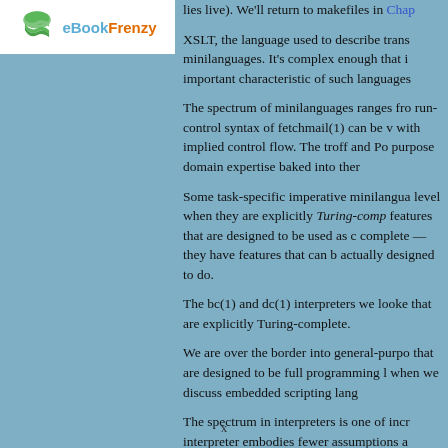[Figure (logo): eBookFrenzy logo with book icon and colored text]
lies live). We'll return to makefiles in Chap
XSLT, the language used to describe trans minilanguages. It's complex enough that i important characteristic of such languages
The spectrum of minilanguages ranges fro run-control syntax of fetchmail(1) can be v with implied control flow. The troff and Po purpose domain expertise baked into ther
Some task-specific imperative minilangua level when they are explicitly Turing-comp features that are designed to be used as c complete — they have features that can b actually designed to do.
The bc(1) and dc(1) interpreters we looke that are explicitly Turing-complete.
We are over the border into general-purpo that are designed to be full programming l when we discuss embedded scripting lang
The spectrum in interpreters is one of incr interpreter embodies fewer assumptions a
x